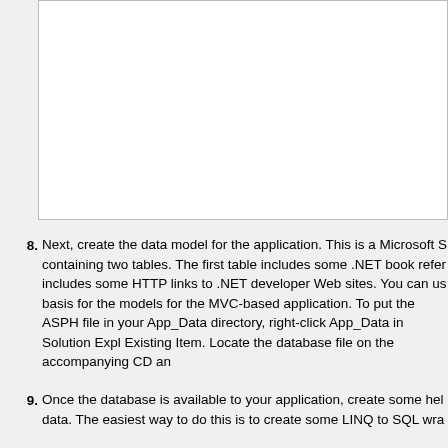[Figure (screenshot): A white rectangular box representing a screenshot or diagram area, largely blank/white with a border.]
8. Next, create the data model for the application. This is a Microsoft S containing two tables. The first table includes some .NET book refer includes some HTTP links to .NET developer Web sites. You can us basis for the models for the MVC-based application. To put the ASPI file in your App_Data directory, right-click App_Data in Solution Expl Existing Item. Locate the database file on the accompanying CD an
9. Once the database is available to your application, create some hel data. The easiest way to do this is to create some LINQ to SQL wra